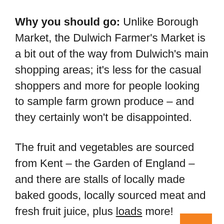Why you should go: Unlike Borough Market, the Dulwich Farmer's Market is a bit out of the way from Dulwich's main shopping areas; it's less for the casual shoppers and more for people looking to sample farm grown produce – and they certainly won't be disappointed.
The fruit and vegetables are sourced from Kent – the Garden of England – and there are stalls of locally made baked goods, locally sourced meat and fresh fruit juice, plus loads more!